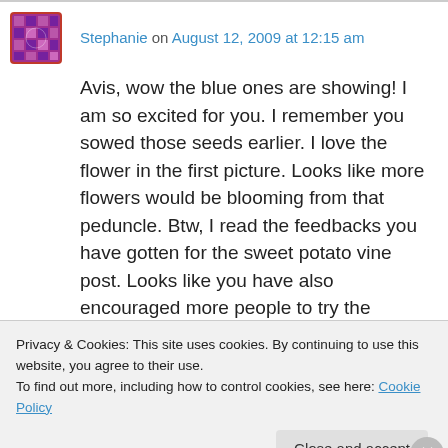Stephanie on August 12, 2009 at 12:15 am
Avis, wow the blue ones are showing! I am so excited for you. I remember you sowed those seeds earlier. I love the flower in the first picture. Looks like more flowers would be blooming from that peduncle. Btw, I read the feedbacks you have gotten for the sweet potato vine post. Looks like you have also encouraged more people to try the experiment. That’s great. Have
Privacy & Cookies: This site uses cookies. By continuing to use this website, you agree to their use.
To find out more, including how to control cookies, see here: Cookie Policy
Close and accept
Advertisements